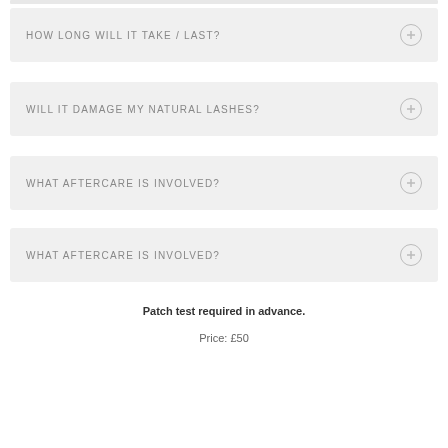HOW LONG WILL IT TAKE / LAST?
WILL IT DAMAGE MY NATURAL LASHES?
WHAT AFTERCARE IS INVOLVED?
WHAT AFTERCARE IS INVOLVED?
Patch test required in advance.
Price: £50